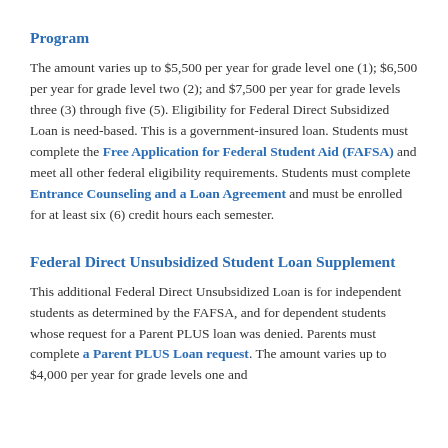Program
The amount varies up to $5,500 per year for grade level one (1); $6,500 per year for grade level two (2); and $7,500 per year for grade levels three (3) through five (5). Eligibility for Federal Direct Subsidized Loan is need-based. This is a government-insured loan. Students must complete the Free Application for Federal Student Aid (FAFSA) and meet all other federal eligibility requirements. Students must complete Entrance Counseling and a Loan Agreement and must be enrolled for at least six (6) credit hours each semester.
Federal Direct Unsubsidized Student Loan Supplement
This additional Federal Direct Unsubsidized Loan is for independent students as determined by the FAFSA, and for dependent students whose request for a Parent PLUS loan was denied. Parents must complete a Parent PLUS Loan request. The amount varies up to $4,000 per year for grade levels one and